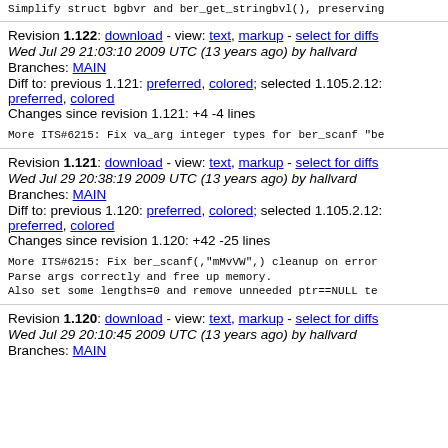Simplify struct bgbvr and ber_get_stringbvl(), preserving
Revision 1.122: download - view: text, markup - select for diffs
Wed Jul 29 21:03:10 2009 UTC (13 years ago) by hallvard
Branches: MAIN
Diff to: previous 1.121: preferred, colored; selected 1.105.2.12: preferred, colored
Changes since revision 1.121: +4 -4 lines
More ITS#6215: Fix va_arg integer types for ber_scanf "be
Revision 1.121: download - view: text, markup - select for diffs
Wed Jul 29 20:38:19 2009 UTC (13 years ago) by hallvard
Branches: MAIN
Diff to: previous 1.120: preferred, colored; selected 1.105.2.12: preferred, colored
Changes since revision 1.120: +42 -25 lines
More ITS#6215: Fix ber_scanf(,"mMvVW",) cleanup on error
Parse args correctly and free up memory.
Also set some lengths=0 and remove unneeded ptr==NULL te
Revision 1.120: download - view: text, markup - select for diffs
Wed Jul 29 20:10:45 2009 UTC (13 years ago) by hallvard
Branches: MAIN